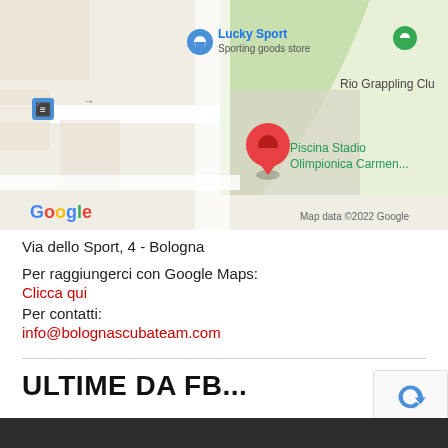[Figure (screenshot): Google Maps screenshot showing Lucky Sport (Sporting goods store), Rio Grappling Club, and Piscina Stadio Olimpionica Carmen... with a red location pin. Map data ©2022 Google.]
Via dello Sport, 4 - Bologna
Per raggiungerci con Google Maps:
Clicca qui
Per contatti:
info@bolognascubateam.com
ULTIME DA FB...